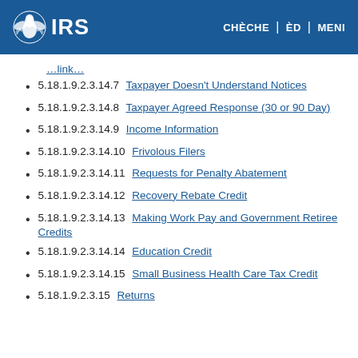IRS — CHÈCHE | ÈD | MENI
(partial link - truncated at top)
5.18.1.9.2.3.14.7  Taxpayer Doesn't Understand Notices
5.18.1.9.2.3.14.8  Taxpayer Agreed Response (30 or 90 Day)
5.18.1.9.2.3.14.9  Income Information
5.18.1.9.2.3.14.10  Frivolous Filers
5.18.1.9.2.3.14.11  Requests for Penalty Abatement
5.18.1.9.2.3.14.12  Recovery Rebate Credit
5.18.1.9.2.3.14.13  Making Work Pay and Government Retiree Credits
5.18.1.9.2.3.14.14  Education Credit
5.18.1.9.2.3.14.15  Small Business Health Care Tax Credit
5.18.1.9.2.3.15  Returns